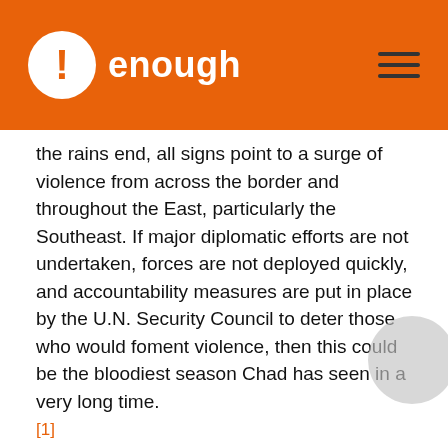enough
the rains end, all signs point to a surge of violence from across the border and throughout the East, particularly the Southeast. If major diplomatic efforts are not undertaken, forces are not deployed quickly, and accountability measures are put in place by the U.N. Security Council to deter those who would foment violence, then this could be the bloodiest season Chad has seen in a very long time.
[1]
John Prendergast and Omer Ismail traveled with the basketball player Tracy McGrady and a documentary film team, looking at the dynamics of violence in the sub-region.
[1]
For more information on these layers of violence, see, Human Rights Watch, “They Came Here to Kill Us,” Volume 19, No. 1(A),